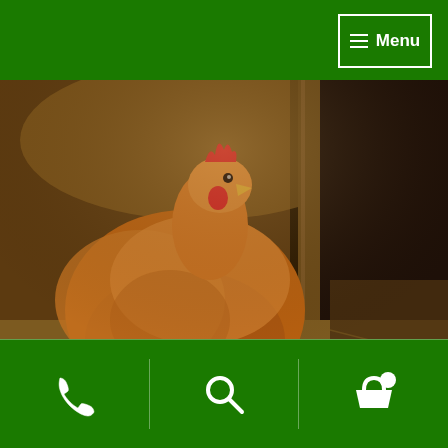Menu
[Figure (photo): A golden-brown hen sitting in a nest box with two eggs (one brown, one white) on straw bedding inside a wooden chicken coop.]
Visit titangardenbuildings.com to find out more about our log cabins or to start designing the log cabin of your dreams! You can now spread the cost of your new log cabin over 12 months with our new 0% instant finance offer! Call our expert sales team on 01483 224186 for
Phone | Search | Cart icons